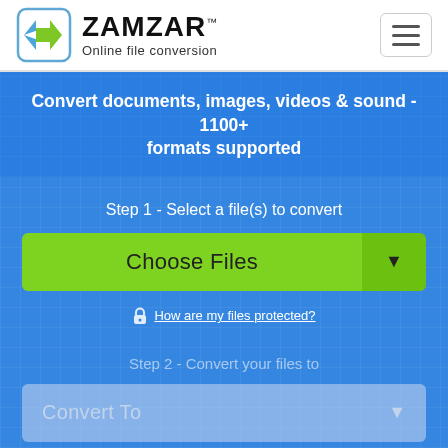[Figure (logo): Zamzar logo with double arrow icon and text 'ZAMZAR Online file conversion']
Convert documents, images, videos & sound - 1100+ formats supported
Step 1 - Select a file(s) to convert
[Figure (screenshot): Green 'Choose Files' button with dropdown arrow]
How are my files protected?
Step 2 - Convert your files to
[Figure (screenshot): Greyed out 'Convert To' dropdown]
Step 3 - Start converting